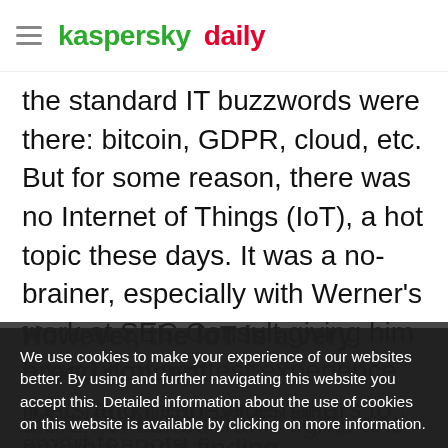kaspersky daily
the standard IT buzzwords were there: bitcoin, GDPR, cloud, etc. But for some reason, there was no Internet of Things (IoT), a hot topic these days. It was a no-brainer, especially with Werner's work at SEC Consult giving him a fair bit of pentest experience (i.e., hacking devices and networks and finding vulnerabilities in them) that could be applied in his research.
However, the IoT is a very broad concept. lights and heart pacemakers to smart teapots. The focus had to be narrowed. But the critical aforementioned traffic lights and pacemakers
We use cookies to make your experience of our websites better. By using and further navigating this website you accept this. Detailed information about the use of cookies on this website is available by clicking on more information.
ACCEPT AND CLOSE